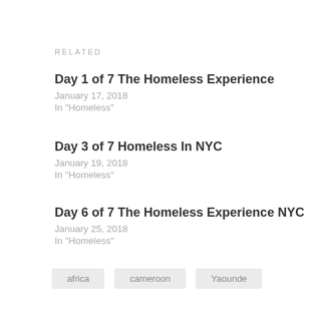RELATED
Day 1 of 7 The Homeless Experience
January 17, 2018
In "Homeless"
Day 3 of 7 Homeless In NYC
January 19, 2018
In "Homeless"
Day 6 of 7 The Homeless Experience NYC
January 25, 2018
In "Homeless"
africa   cameroon   Yaounde